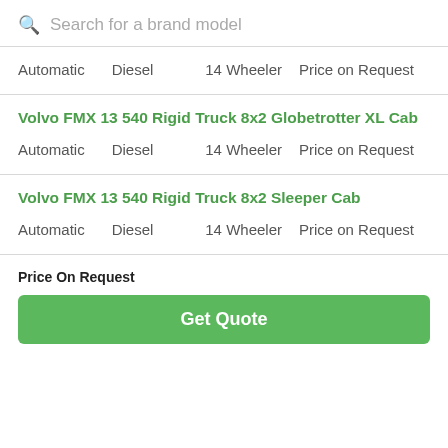Search for a brand model
Automatic    Diesel    14 Wheeler    Price on Request
Volvo FMX 13 540 Rigid Truck 8x2 Globetrotter XL Cab
Automatic    Diesel    14 Wheeler    Price on Request
Volvo FMX 13 540 Rigid Truck 8x2 Sleeper Cab
Automatic    Diesel    14 Wheeler    Price on Request
Price On Request
Get Quote